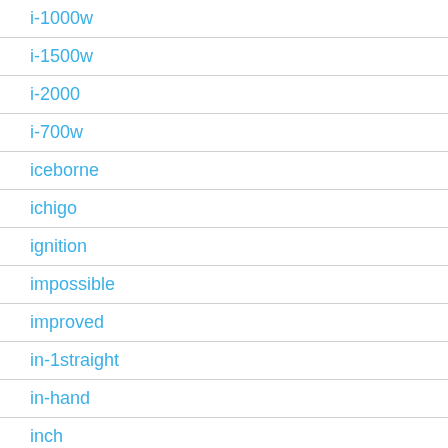i-1000w
i-1500w
i-2000
i-700w
iceborne
ichigo
ignition
impossible
improved
in-1straight
in-hand
inch
industrial